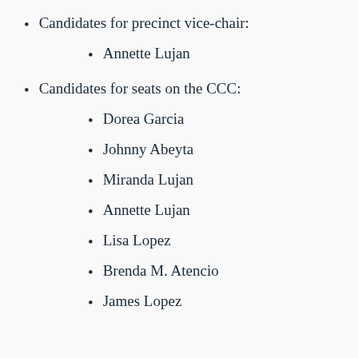Candidates for precinct vice-chair:
Annette Lujan
Candidates for seats on the CCC:
Dorea Garcia
Johnny Abeyta
Miranda Lujan
Annette Lujan
Lisa Lopez
Brenda M. Atencio
James Lopez